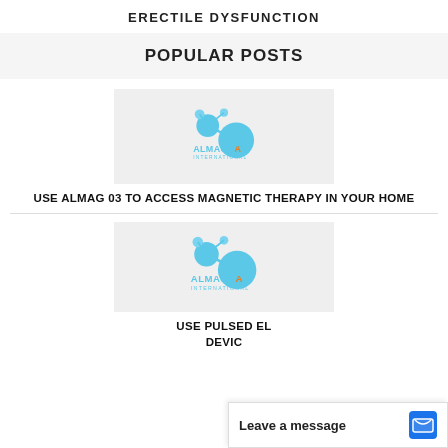ERECTILE DYSFUNCTION
POPULAR POSTS
[Figure (logo): Almagia International logo — stylized blue molecule graphic with 'ALMAGIA INTERNATIONAL' text]
USE ALMAG 03 TO ACCESS MAGNETIC THERAPY IN YOUR HOME
[Figure (logo): Almagia International logo — stylized blue molecule graphic with 'ALMAGIA INTERNATIONAL' text]
USE PULSED EL... DEVIC...
Leave a message